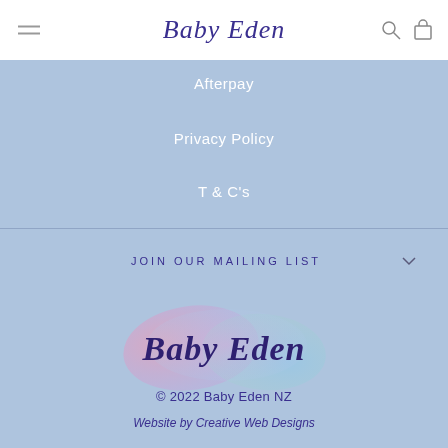Baby Eden
Afterpay
Privacy Policy
T & C's
JOIN OUR MAILING LIST
[Figure (logo): Baby Eden watercolor logo with pastel pink, purple and blue brushstroke background and cursive 'Baby Eden' text in dark purple]
© 2022 Baby Eden NZ
Website by Creative Web Designs